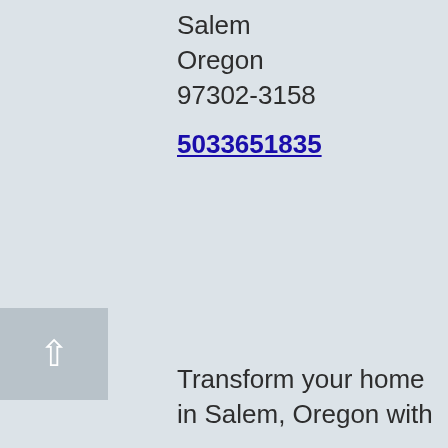Salem
Oregon
97302-3158

5033651835
Transform your home in Salem, Oregon with